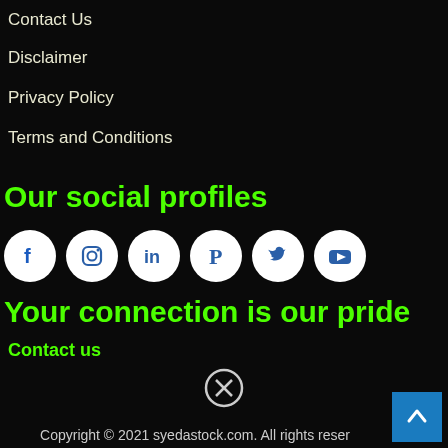Contact Us
Disclaimer
Privacy Policy
Terms and Conditions
Our social profiles
[Figure (illustration): Row of 6 social media icon circles: Facebook, Instagram, LinkedIn, Pinterest, Twitter, YouTube]
Your connection is our pride
Contact us
[Figure (illustration): Close/X circle button overlay]
Copyright © 2021 syedastock.com. All rights reser